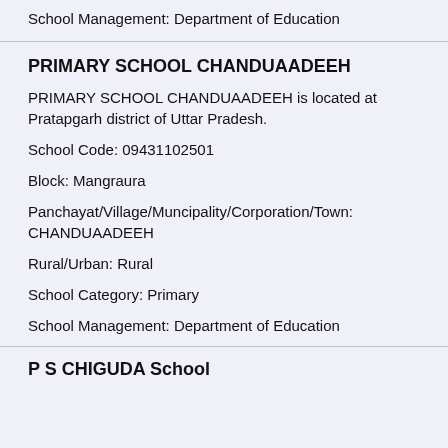School Management: Department of Education
PRIMARY SCHOOL CHANDUAADEEH
PRIMARY SCHOOL CHANDUAADEEH is located at Pratapgarh district of Uttar Pradesh.
School Code: 09431102501
Block: Mangraura
Panchayat/Village/Muncipality/Corporation/Town: CHANDUAADEEH
Rural/Urban: Rural
School Category: Primary
School Management: Department of Education
P S CHIGUDA School